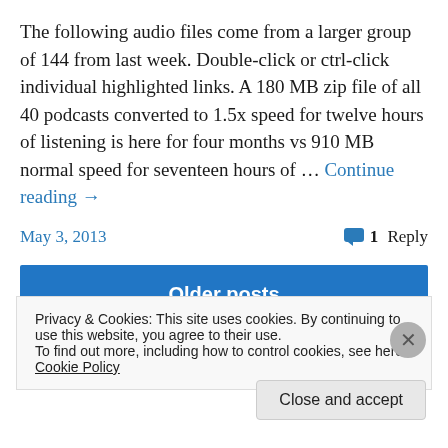The following audio files come from a larger group of 144 from last week. Double-click or ctrl-click individual highlighted links. A 180 MB zip file of all 40 podcasts converted to 1.5x speed for twelve hours of listening is here for four months vs 910 MB normal speed for seventeen hours of … Continue reading →
May 3, 2013    1 Reply
Older posts
Privacy & Cookies: This site uses cookies. By continuing to use this website, you agree to their use. To find out more, including how to control cookies, see here: Cookie Policy
Close and accept